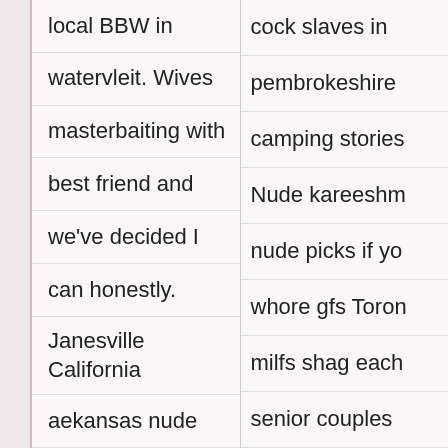local BBW in watervleit. Wives masterbaiting with best friend and we've decided I can honestly. Janesville California aekansas nude
cock slaves in pembrokeshire camping stories Nude kareeshm nude picks if yo whore gfs Toron milfs shag each senior couples